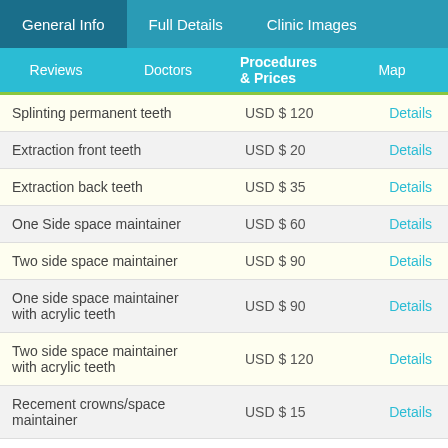General Info | Full Details | Clinic Images
Reviews | Doctors | Procedures & Prices | Map
| Procedure | Price |  |
| --- | --- | --- |
| Splinting permanent teeth | USD $ 120 | Details |
| Extraction front teeth | USD $ 20 | Details |
| Extraction back teeth | USD $ 35 | Details |
| One Side space maintainer | USD $ 60 | Details |
| Two side space maintainer | USD $ 90 | Details |
| One side space maintainer with acrylic teeth | USD $ 90 | Details |
| Two side space maintainer with acrylic teeth | USD $ 120 | Details |
| Recement crowns/space maintainer | USD $ 15 | Details |